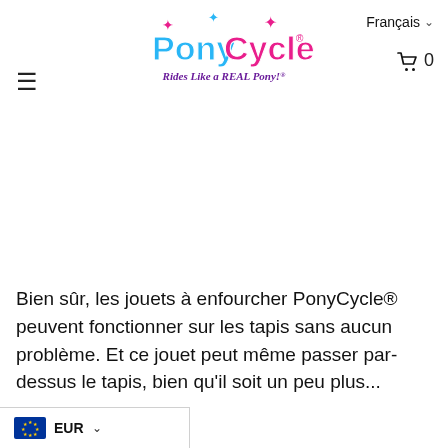[Figure (logo): PonyCycle logo with text 'Rides Like a REAL Pony!']
Bien sûr, les jouets à enfourcher PonyCycle® peuvent fonctionner sur les tapis sans aucun problème. Et ce jouet peut même passer par-dessus le tapis, bien qu'il soit un peu plus...
EUR